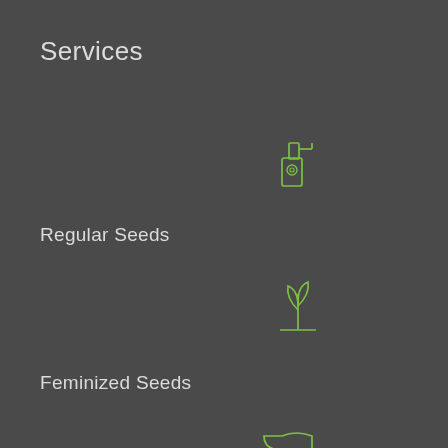Services
Regular Seeds
Feminized Seeds
Autoflower Seeds